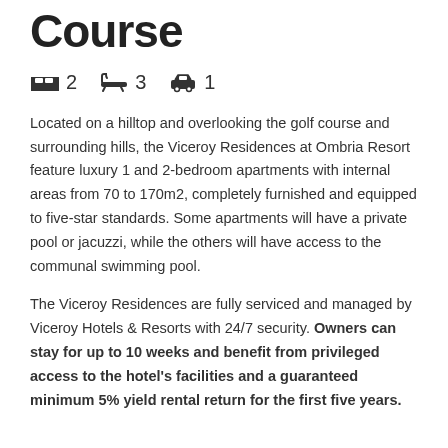Course
2  3  1 (bedrooms, bathrooms, parking)
Located on a hilltop and overlooking the golf course and surrounding hills, the Viceroy Residences at Ombria Resort feature luxury 1 and 2-bedroom apartments with internal areas from 70 to 170m2, completely furnished and equipped to five-star standards. Some apartments will have a private pool or jacuzzi, while the others will have access to the communal swimming pool.
The Viceroy Residences are fully serviced and managed by Viceroy Hotels & Resorts with 24/7 security. Owners can stay for up to 10 weeks and benefit from privileged access to the hotel's facilities and a guaranteed minimum 5% yield rental return for the first five years.